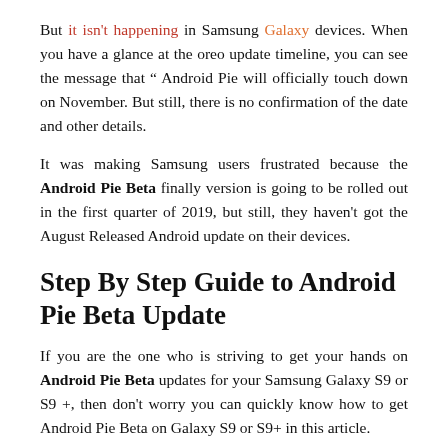But it isn't happening in Samsung Galaxy devices. When you have a glance at the oreo update timeline, you can see the message that " Android Pie will officially touch down on November. But still, there is no confirmation of the date and other details.
It was making Samsung users frustrated because the Android Pie Beta finally version is going to be rolled out in the first quarter of 2019, but still, they haven't got the August Released Android update on their devices.
Step By Step Guide to Android Pie Beta Update
If you are the one who is striving to get your hands on Android Pie Beta updates for your Samsung Galaxy S9 or S9 +, then don't worry you can quickly know how to get Android Pie Beta on Galaxy S9 or S9+ in this article.
This is...